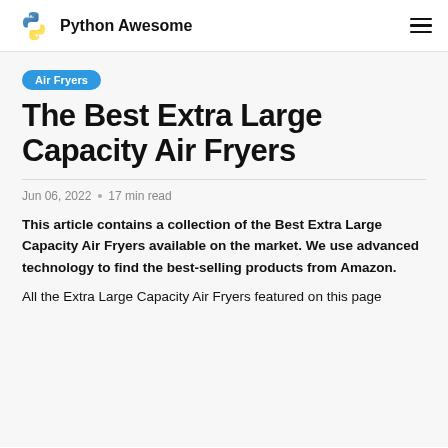Python Awesome
Air Fryers
The Best Extra Large Capacity Air Fryers
Jun 06, 2022 • 17 min read
This article contains a collection of the Best Extra Large Capacity Air Fryers available on the market. We use advanced technology to find the best-selling products from Amazon.
All the Extra Large Capacity Air Fryers featured on this page